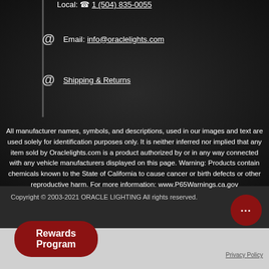Local: ☎ 1 (504) 835-0055
@ Email: info@oraclelights.com
@ Shipping & Returns
All manufacturer names, symbols, and descriptions, used in our images and text are used solely for identification purposes only. It is neither inferred nor implied that any item sold by Oraclelights.com is a product authorized by or in any way connected with any vehicle manufacturers displayed on this page. Warning: Products contain chemicals known to the State of California to cause cancer or birth defects or other reproductive harm. For more information: www.P65Warnings.ca.gov
Copyright © 2003-2021 ORACLE LIGHTING All rights reserved.
Rewards Program